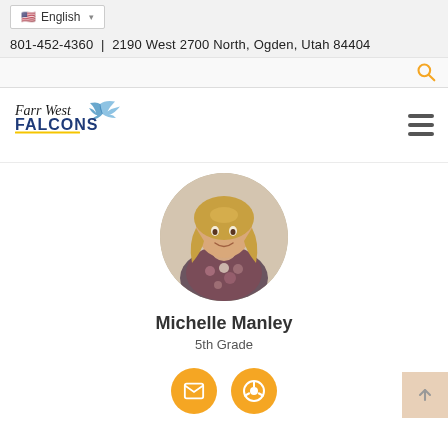English | 801-452-4360 | 2190 West 2700 North, Ogden, Utah 84404
[Figure (logo): Farr West Falcons school logo with falcon bird graphic, script and bold text]
[Figure (photo): Circular profile photo of Michelle Manley, a woman with blonde hair wearing a floral top]
Michelle Manley
5th Grade